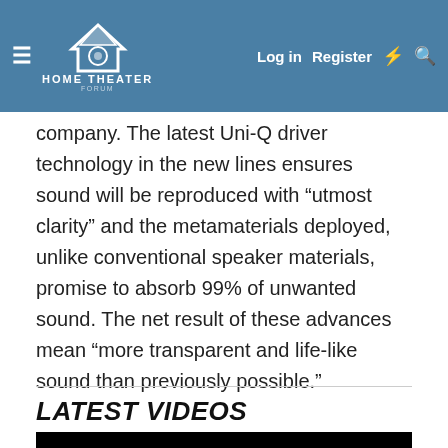HOME THEATER FORUM — Log in | Register
company. The latest Uni-Q driver technology in the new lines ensures sound will be reproduced with “utmost clarity” and the metamaterials deployed, unlike conventional speaker materials, promise to absorb 99% of unwanted sound. The net result of these advances mean “more transparent and life-like sound than previously possible.”
LATEST VIDEOS
[Figure (other): Black video thumbnail placeholder]
[Figure (other): Advertisement banner for BitLife - Life Simulator app showing ad label, animated image on left, red background with logo on right, and Install button]